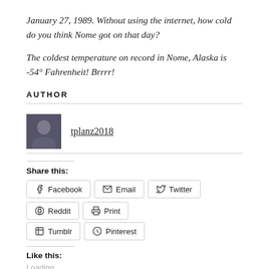January 27, 1989. Without using the internet, how cold do you think Nome got on that day?
The coldest temperature on record in Nome, Alaska is -54° Fahrenheit! Brrrr!
AUTHOR
[Figure (photo): Author avatar photo of tplanz2018]
tplanz2018
Share this:
Facebook  Email  Twitter  Reddit  Print  Tumblr  Pinterest
Like this:
Loading...